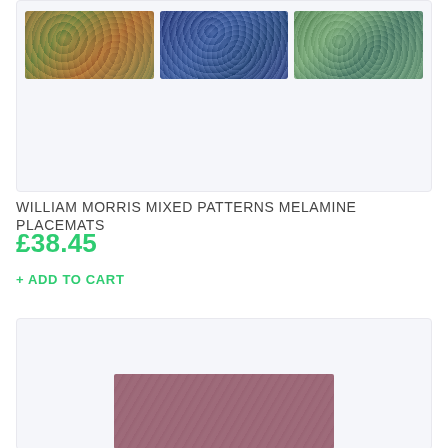[Figure (photo): Three floral patterned melamine placemats: first has warm earthy tones with strawberry/flower motifs, second has dark blue background with white botanical pattern, third has green background with floral design. Shown in a light grey card container.]
WILLIAM MORRIS MIXED PATTERNS MELAMINE PLACEMATS
£38.45
+ ADD TO CART
[Figure (photo): A dusty pink/mauve coloured placemat or textile product shown in a light grey card container, partially visible at the bottom of the page.]